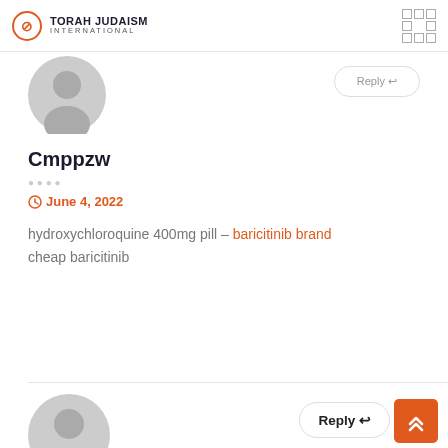TORAH JUDAISM INTERNATIONAL
[Figure (photo): Gray placeholder avatar icon at top]
Cmppzw
June 4, 2022
hydroxychloroquine 400mg pill – baricitinib brand cheap baricitinib
[Figure (photo): Gray placeholder avatar icon at bottom]
Reply